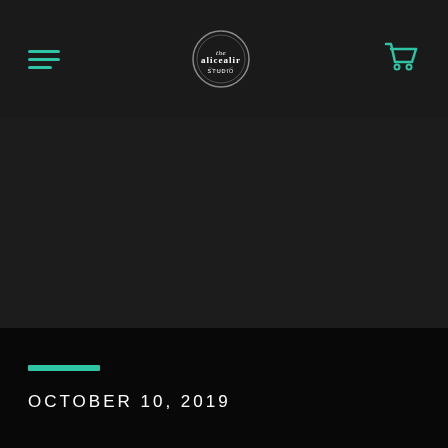Navigation header with hamburger menu, logo, and cart icon
OCTOBER 10, 2019